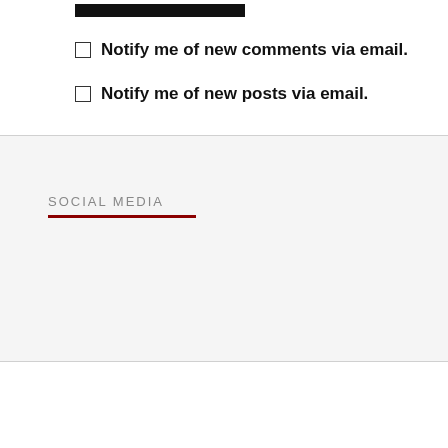[Figure (other): Black bar / button element at top]
Notify me of new comments via email.
Notify me of new posts via email.
SOCIAL MEDIA